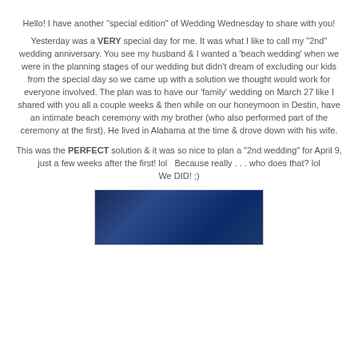Hello! I have another "special edition" of Wedding Wednesday to share with you!
Yesterday was a VERY special day for me. It was what I like to call my "2nd" wedding anniversary. You see my husband & I wanted a 'beach wedding' when we were in the planning stages of our wedding but didn't dream of excluding our kids from the special day so we came up with a solution we thought would work for everyone involved. The plan was to have our 'family' wedding on March 27 like I shared with you all a couple weeks & then while on our honeymoon in Destin, have an intimate beach ceremony with my brother (who also performed part of the ceremony at the first). He lived in Alabama at the time & drove down with his wife.
This was the PERFECT solution & it was so nice to plan a "2nd wedding" for April 9, just a few weeks after the first! lol  Because really . . . who does that? lol
We DID! ;)
[Figure (photo): Blue textured background photo, partially visible at bottom of page]